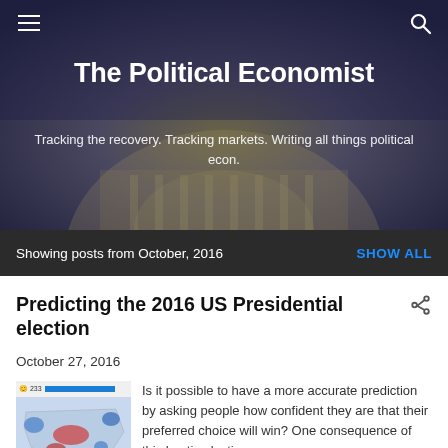[Figure (screenshot): Website header with blurred government building dome background, showing The Political Economist blog header with hamburger menu and search icon]
The Political Economist
Tracking the recovery. Tracking markets. Writing all things political econ.
Showing posts from October, 2016   SHOW ALL
Predicting the 2016 US Presidential election
October 27, 2016
[Figure (screenshot): Thumbnail showing a political map of the US with red and blue states, with a progress bar at top]
Is it possible to have a more accurate prediction by asking people how confident they are that their preferred choice will win? One consequence of this hectic election